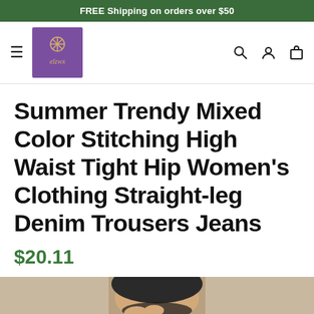FREE Shipping on orders over $50
[Figure (logo): elzwx brand logo: purple square with gold geometric symbol and italic brand name]
Summer Trendy Mixed Color Stitching High Waist Tight Hip Women's Clothing Straight-leg Denim Trousers Jeans
$20.11
[Figure (photo): Product photo showing woman wearing the denim trousers jeans, cropped view of torso and jeans waistband area]